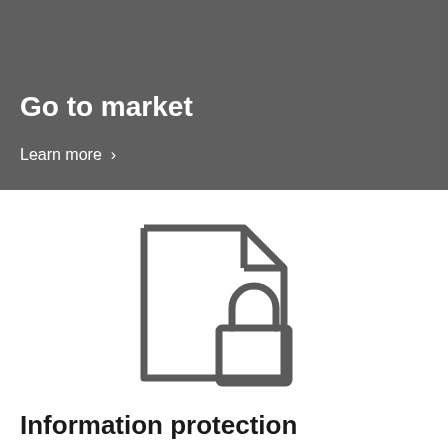Go to market
Learn more >
[Figure (illustration): Icon of a SIM card or document with a padlock symbol, outlined in dark gray on white background]
Information protection